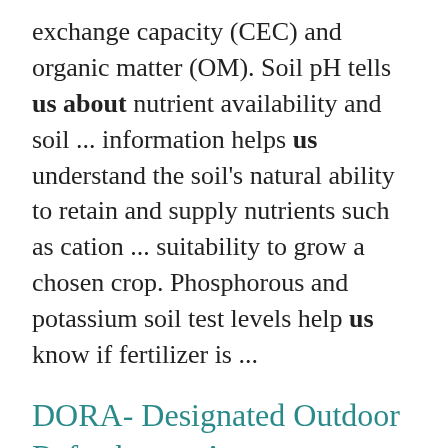exchange capacity (CEC) and organic matter (OM). Soil pH tells us about nutrient availability and soil ... information helps us understand the soil's natural ability to retain and supply nutrients such as cation ... suitability to grow a chosen crop. Phosphorous and potassium soil test levels help us know if fertilizer is ...
DORA- Designated Outdoor Refreshment Areas
https://ohioline.osu.edu/factsheet/cdfs-4113
better understand how to implement a DORA in their community. It provides